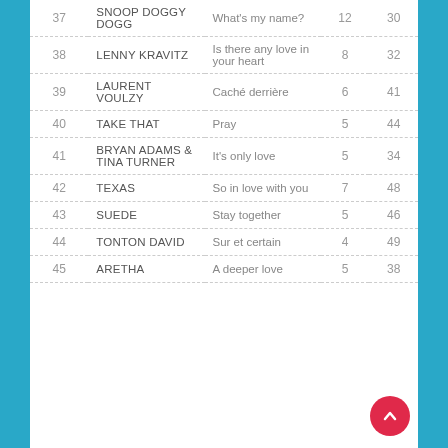| # | Artist | Song | Col4 | Col5 |
| --- | --- | --- | --- | --- |
| 37 | SNOOP DOGGY DOGG | What's my name? | 12 | 30 |
| 38 | LENNY KRAVITZ | Is there any love in your heart | 8 | 32 |
| 39 | LAURENT VOULZY | Caché derrière | 6 | 41 |
| 40 | TAKE THAT | Pray | 5 | 44 |
| 41 | BRYAN ADAMS & TINA TURNER | It's only love | 5 | 34 |
| 42 | TEXAS | So in love with you | 7 | 48 |
| 43 | SUEDE | Stay together | 5 | 46 |
| 44 | TONTON DAVID | Sur et certain | 4 | 49 |
| 45 | ARETHA | A deeper love | 5 | 38 |